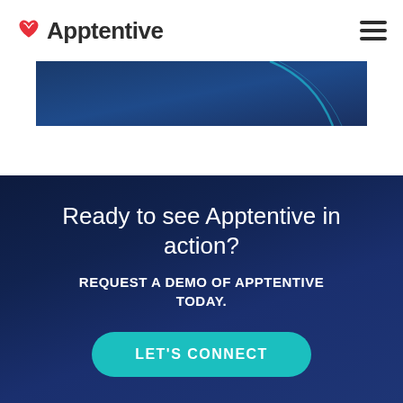Apptentive
[Figure (illustration): Dark blue banner/hero image with gradient and curved light accent line]
Ready to see Apptentive in action?
REQUEST A DEMO OF APPTENTIVE TODAY.
LET'S CONNECT